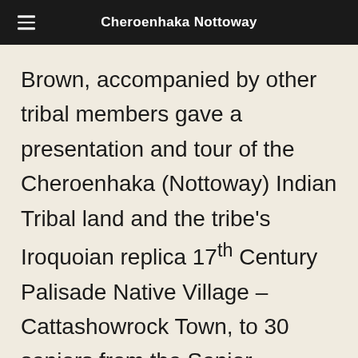Cheroenhaka Nottoway
Brown, accompanied by other tribal members gave a presentation and tour of the Cheroenhaka (Nottoway) Indian Tribal land and the tribe's Iroquoian replica 17th Century Palisade Native Village – Cattashowrock Town, to 30 seniors from the Senior Community Enhancement Program of Severn, NC.